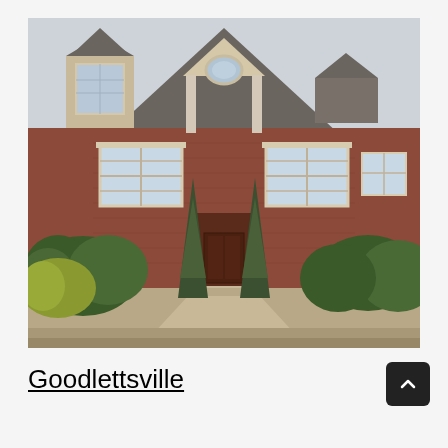[Figure (photo): Exterior photo of a brick residential home in Goodlettsville with arched entryway, white-trimmed windows, dormer, oval window, and landscaped shrubs and cypress trees in front.]
Goodlettsville